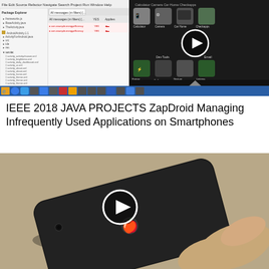[Figure (screenshot): Screenshot of Android app development environment showing Eclipse IDE on the left with project files and a Samsung Android smartphone on the right displaying app icons including Calculator, Camera, Car Home, Checkapps, Energy Efficiency, Gallery, Gesture Builder, Linterna Checkblox, with a video play button overlay]
IEEE 2018 JAVA PROJECTS ZapDroid Managing Infrequently Used Applications on Smartphones
[Figure (screenshot): Video thumbnail showing a black iPhone lying on a beige/tan surface with a hand touching it from the right, with a white circular play button overlay in the center]